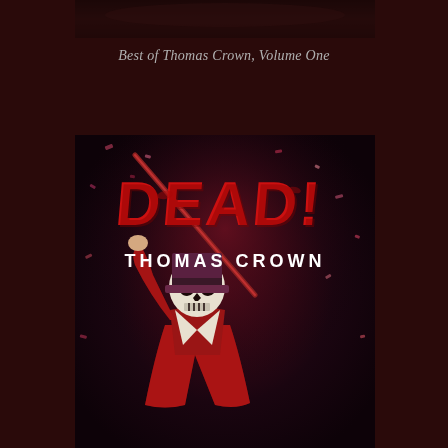[Figure (illustration): Top cropped book cover or decorative banner image showing a dark fantasy/horror theme with a skeleton figure, dark background with red tones]
Best of Thomas Crown, Volume One
[Figure (illustration): Book cover for 'DEAD!' by Thomas Crown. Dark background with dramatic red and purple tones, scattered confetti. A skeleton figure wearing a top hat and red ringmaster jacket holds a cane/staff aloft with one hand raised. Large stylized red graffiti-style text reads 'DEAD!' at top, with 'THOMAS CROWN' in white sans-serif letters below.]